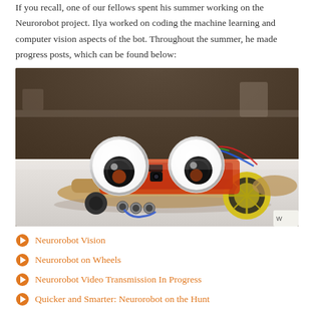If you recall, one of our fellows spent his summer working on the Neurorobot project. Ilya worked on coding the machine learning and computer vision aspects of the bot. Throughout the summer, he made progress posts, which can be found below:
[Figure (photo): Photo of the Neurorobot — a small wheeled robot with two large googly eyes on the front, mounted on a wooden platform with orange electronics and a yellow-wheeled motor, sitting on a white table surface.]
Neurorobot Vision
Neurorobot on Wheels
Neurorobot Video Transmission In Progress
Quicker and Smarter: Neurorobot on the Hunt